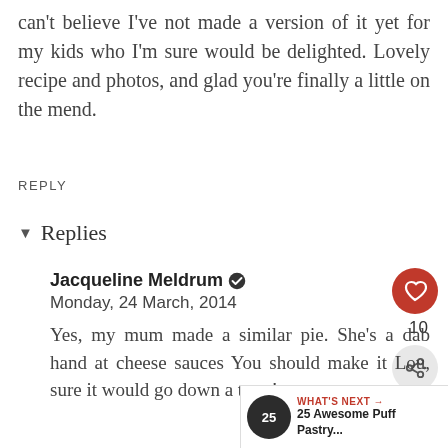can't believe I've not made a version of it yet for my kids who I'm sure would be delighted. Lovely recipe and photos, and glad you're finally a little on the mend.
REPLY
▾ Replies
Jacqueline Meldrum ✔
Monday, 24 March, 2014
Yes, my mum made a similar pie. She's a dab hand at cheese sauces You should make it Lou, sure it would go down a treat!